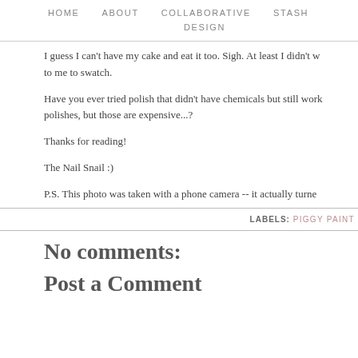HOME   ABOUT   COLLABORATIVE   STASH   DESIGN
I guess I can't have my cake and eat it too. Sigh. At least I didn't w... to me to swatch.
Have you ever tried polish that didn't have chemicals but still work... polishes, but those are expensive...?
Thanks for reading!
The Nail Snail :)
P.S. This photo was taken with a phone camera -- it actually turne...
LABELS: PIGGY PAINT
No comments:
Post a Comment